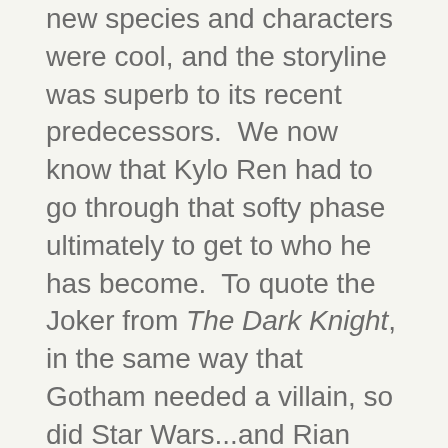new species and characters were cool, and the storyline was superb to its recent predecessors.  We now know that Kylo Ren had to go through that softy phase ultimately to get to who he has become.  To quote the Joker from The Dark Knight, in the same way that Gotham needed a villain, so did Star Wars...and Rian Johnson gave him to us.  The proverbial tug-of-war internally between Ren and Rey is brilliant, and definitely keeps your attention.  Johnson gives viewers the force to be able to pick a side.
The best line in the film comes from Rose (played by Kelly Marie Tran), a new character whose role in the film as the moral compass is extremely relatable.  She says, “War isn’t about